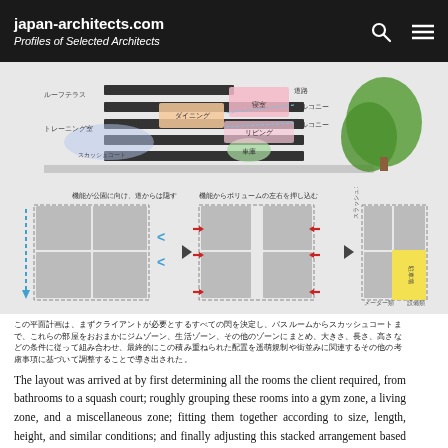japan-architects.com
Profiles of Selected Architects
[Figure (schematic): Architectural diagram showing stacked floor plan with Japanese labels for rooms: roof terrace, balcony, dining/living areas, squash court, training room, garage. Also shows a tree silhouette. Second diagram shows three-step process of volume arrangement with arrows indicating compression/setback from street.]
（Japanese text describing the layout arrangement）
The layout was arrived at by first determining all the rooms the client required, from bathrooms to a squash court; roughly grouping these rooms into a gym zone, a living zone, and a miscellaneous zone; fitting them together according to size, length, height, and similar conditions; and finally adjusting this stacked arrangement based on setback regulations and other considerations related to the streetscape. These volumes were then integrated into a single building via